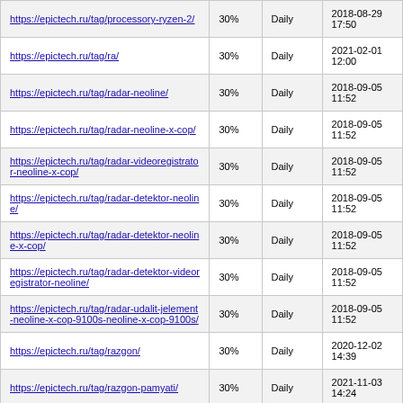| https://epictech.ru/tag/processory-ryzen-2/ | 30% | Daily | 2018-08-29 17:50 |
| https://epictech.ru/tag/ra/ | 30% | Daily | 2021-02-01 12:00 |
| https://epictech.ru/tag/radar-neoline/ | 30% | Daily | 2018-09-05 11:52 |
| https://epictech.ru/tag/radar-neoline-x-cop/ | 30% | Daily | 2018-09-05 11:52 |
| https://epictech.ru/tag/radar-videoregistrator-neoline-x-cop/ | 30% | Daily | 2018-09-05 11:52 |
| https://epictech.ru/tag/radar-detektor-neoline/ | 30% | Daily | 2018-09-05 11:52 |
| https://epictech.ru/tag/radar-detektor-neoline-x-cop/ | 30% | Daily | 2018-09-05 11:52 |
| https://epictech.ru/tag/radar-detektor-videoregistrator-neoline/ | 30% | Daily | 2018-09-05 11:52 |
| https://epictech.ru/tag/radar-udalit-jelement-neoline-x-cop-9100s-neoline-x-cop-9100s/ | 30% | Daily | 2018-09-05 11:52 |
| https://epictech.ru/tag/razgon/ | 30% | Daily | 2020-12-02 14:39 |
| https://epictech.ru/tag/razgon-pamyati/ | 30% | Daily | 2021-11-03 14:24 |
| https://epictech.ru/tag/razgon-pamyati-amd/ | 30% | Daily | 2021-11-03 14:24 |